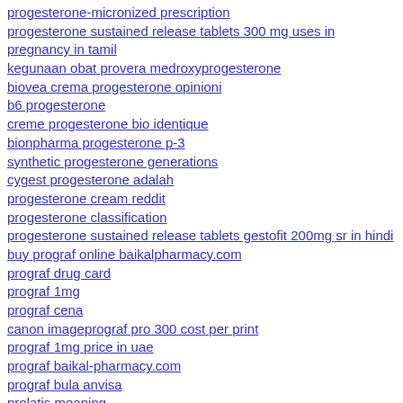progesterone-micronized prescription
progesterone sustained release tablets 300 mg uses in pregnancy in tamil
kegunaan obat provera medroxyprogesterone
biovea crema progesterone opinioni
b6 progesterone
creme progesterone bio identique
bionpharma progesterone p-3
synthetic progesterone generations
cygest progesterone adalah
progesterone cream reddit
progesterone classification
progesterone sustained release tablets gestofit 200mg sr in hindi
buy prograf online baikalpharmacy.com
prograf drug card
prograf 1mg
prograf cena
canon imageprograf pro 300 cost per print
prograf 1mg price in uae
prograf baikal-pharmacy.com
prograf bula anvisa
prolatis meaning
promescent australia reviews
promescent cvs
promescent spray how to use